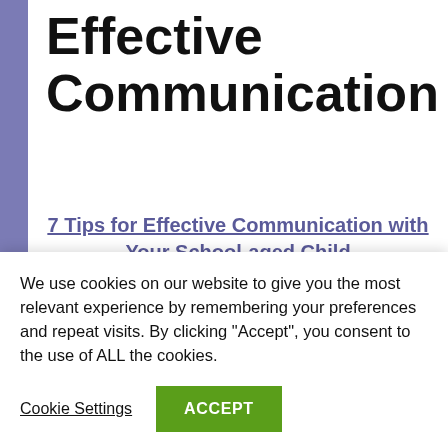Effective Communication
7 Tips for Effective Communication with Your School-aged Child
Communicating with Your Child
Communication Skills for Kids
We use cookies on our website to give you the most relevant experience by remembering your preferences and repeat visits. By clicking “Accept”, you consent to the use of ALL the cookies.
Cookie Settings
ACCEPT